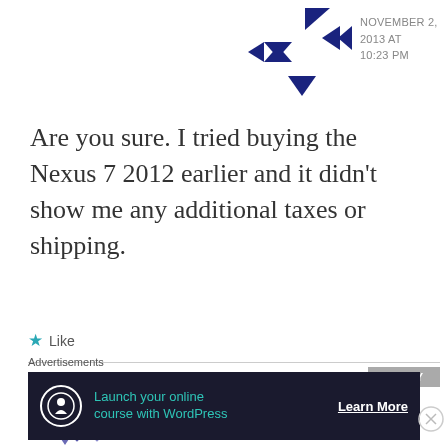[Figure (logo): Dark blue geometric logo made of triangles and arrow shapes representing a commenter avatar]
NOVEMBER 2, 2013 AT 10:23 PM
Are you sure. I tried buying the Nexus 7 2012 earlier and it didn't show me any additional taxes or shipping.
★ Like
REPLY
[Figure (logo): Purple geometric tangram-style logo next to the name 'chirag']
chirag
Advertisements
[Figure (infographic): Dark advertisement banner: Launch your online course with WordPress — Learn More]